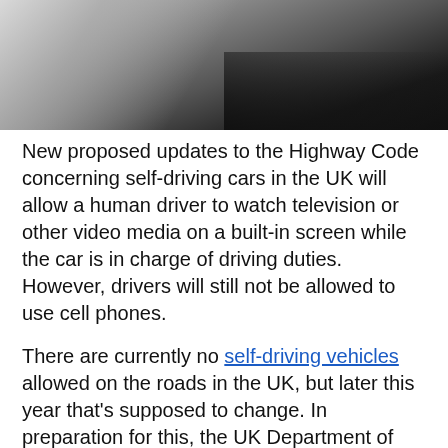[Figure (photo): Close-up photo of a car, showing metallic/chrome surfaces in dark background]
New proposed updates to the Highway Code concerning self-driving cars in the UK will allow a human driver to watch television or other video media on a built-in screen while the car is in charge of driving duties. However, drivers will still not be allowed to use cell phones.
There are currently no self-driving vehicles allowed on the roads in the UK, but later this year that's supposed to change. In preparation for this, the UK Department of Transport is looking at making changes to the Highway Code to accommodate the addition of self-driving cars to the motorways in the country. The proposed changes are supposed to be added over the summer.
Perhaps the most controversial of the proposed updates is that it will allow drivers, who have handed over control of their car to an autonomous driving system, the right to